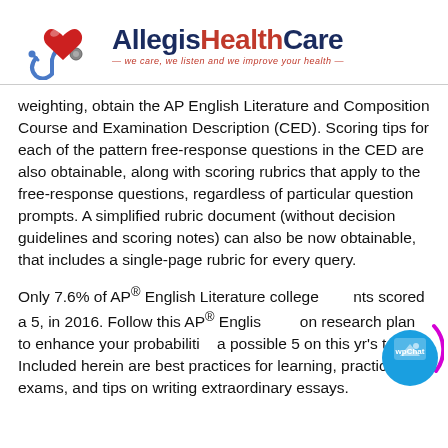[Figure (logo): Allegis HealthCare logo with red heart and stethoscope illustration, tagline: we care, we listen and we improve your health]
weighting, obtain the AP English Literature and Composition Course and Examination Description (CED). Scoring tips for each of the pattern free-response questions in the CED are also obtainable, along with scoring rubrics that apply to the free-response questions, regardless of particular question prompts. A simplified rubric document (without decision guidelines and scoring notes) can also be now obtainable, that includes a single-page rubric for every query.
Only 7.6% of AP® English Literature college students scored a 5, in 2016. Follow this AP® English literature research plan to enhance your probabilities of a possible 5 on this yr's test. Included herein are best practices for learning, practice exams, and tips on writing extraordinary essays.